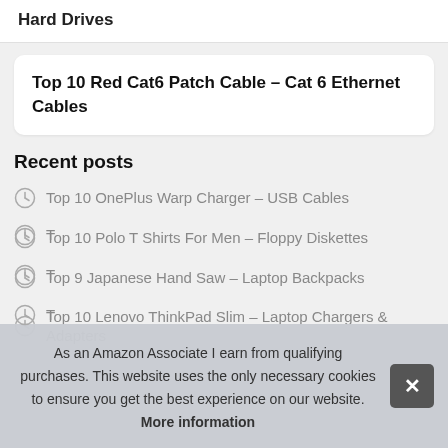Hard Drives
Top 10 Red Cat6 Patch Cable – Cat 6 Ethernet Cables
Recent posts
Top 10 OnePlus Warp Charger – USB Cables
Top 10 Polo T Shirts For Men – Floppy Diskettes
Top 9 Japanese Hand Saw – Laptop Backpacks
Top 10 Lenovo ThinkPad Slim – Laptop Chargers & Adapters
T
T
T
As an Amazon Associate I earn from qualifying purchases. This website uses the only necessary cookies to ensure you get the best experience on our website. More information